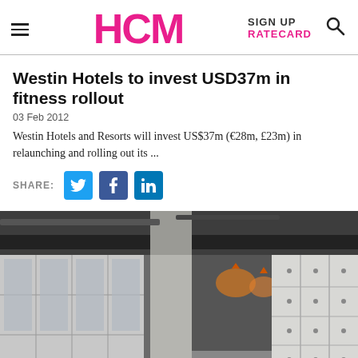HCM | SIGN UP | RATECARD
Westin Hotels to invest USD37m in fitness rollout
03 Feb 2012
Westin Hotels and Resorts will invest US$37m (€28m, £23m) in relaunching and rolling out its ...
[Figure (screenshot): Interior of a hotel locker room or gym changing area with grey lockers on the right, pendant lights in the center background, and locker units with mirrors on the left. Industrial-style ceiling with exposed ductwork.]